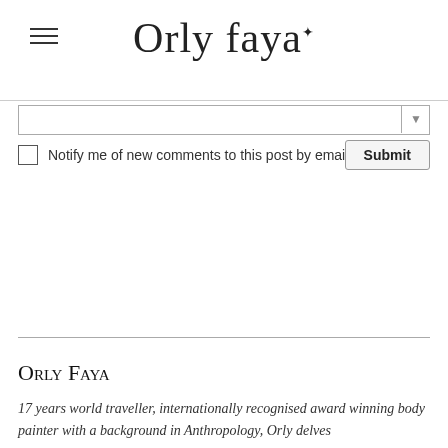Orly Faya
Notify me of new comments to this post by email
Submit
Orly Faya
17 years world traveller, internationally recognised award winning body painter with a background in Anthropology, Orly delves